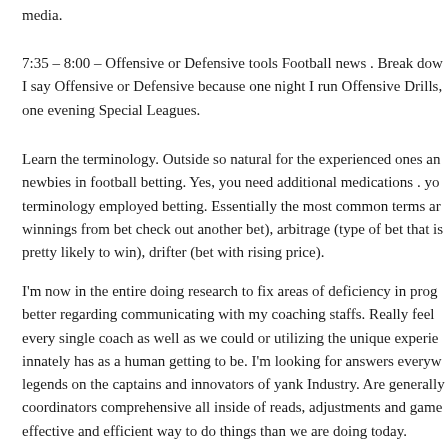media.
7:35 – 8:00 – Offensive or Defensive tools Football news . Break dow I say Offensive or Defensive because one night I run Offensive Drills, one evening Special Leagues.
Learn the terminology. Outside so natural for the experienced ones an newbies in football betting. Yes, you need additional medications . yo terminology employed betting. Essentially the most common terms ar winnings from bet check out another bet), arbitrage (type of bet that is pretty likely to win), drifter (bet with rising price).
I'm now in the entire doing research to fix areas of deficiency in prog better regarding communicating with my coaching staffs. Really feel every single coach as well as we could or utilizing the unique experie innately has as a human getting to be. I'm looking for answers everyw legends on the captains and innovators of yank Industry. Are generally coordinators comprehensive all inside of reads, adjustments and game effective and efficient way to do things than we are doing today.